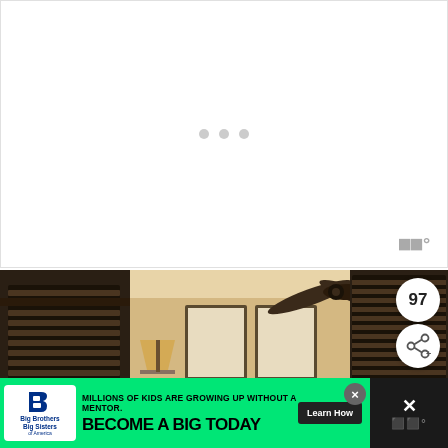[Figure (screenshot): White loading screen with three grey dots and a weather/app icon in bottom right corner]
[Figure (photo): Interior bedroom photo showing dark wood shutters on windows, ceiling fan, two framed pictures on wall, lamp with shade, upholstered headboard with red pillows, and dark wood furniture]
97
[Figure (infographic): Share icon button (connected nodes symbol with plus sign)]
[Figure (infographic): Advertisement banner: Big Brothers Big Sisters logo, text 'MILLIONS OF KIDS ARE GROWING UP WITHOUT A MENTOR. BECOME A BIG TODAY' with Learn How button on green background]